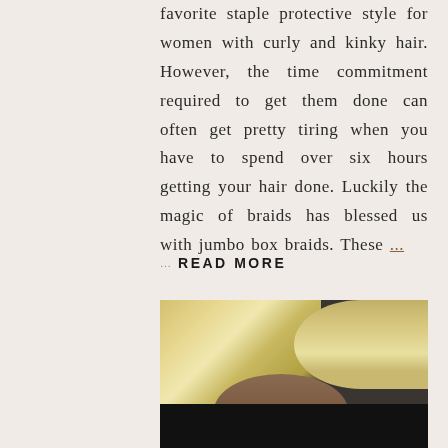favorite staple protective style for women with curly and kinky hair. However, the time commitment required to get them done can often get pretty tiring when you have to spend over six hours getting your hair done. Luckily the magic of braids has blessed us with jumbo box braids. These ...
... READ MORE
[Figure (photo): Photo of a woman with long blonde box braids and curly hair, wearing a black jacket, looking downward]